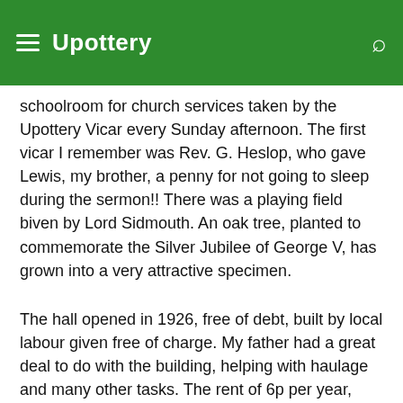Upottery
schoolroom for church services taken by the Upottery Vicar every Sunday afternoon. The first vicar I remember was Rev. G. Heslop, who gave Lewis, my brother, a penny for not going to sleep during the sermon!! There was a playing field biven by Lord Sidmouth. An oak tree, planted to commemorate the Silver Jubilee of George V, has grown into a very attractive specimen.
The hall opened in 1926, free of debt, built by local labour given free of charge. My father had a great deal to do with the building, helping with haulage and many other tasks. The rent of 6p per year, paid to Lord Sidmouth for the field in which it was built. For many years a very successful carnival was organised by the residents, proceeds going to local hospitals. during the war, the hall became a WVS canteen where hundreds of servicemen came for